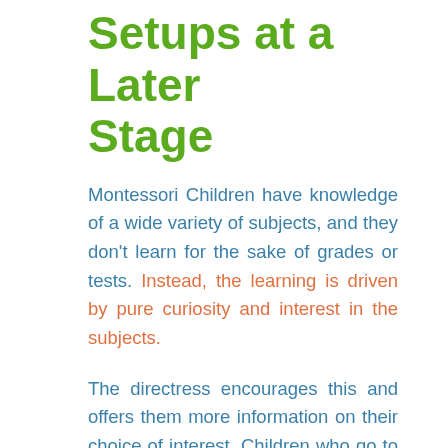Setups at a Later Stage
Montessori Children have knowledge of a wide variety of subjects, and they don't learn for the sake of grades or tests. Instead, the learning is driven by pure curiosity and interest in the subjects.
The directress encourages this and offers them more information on their choice of interest. Children who go to Montessori schools are far more knowledgeable, and they become self-disciplined, self-motivated learners who do it for the love of learning and not for any rewards or praise.
Working with mixed ages groups, children learn